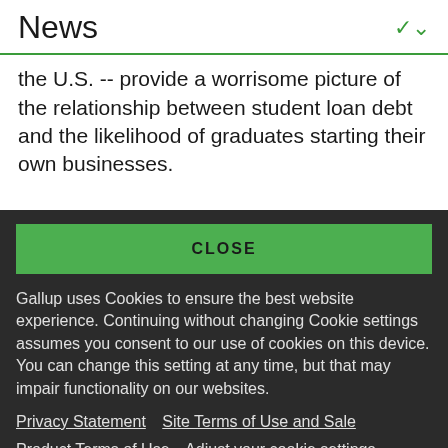News
the U.S. -- provide a worrisome picture of the relationship between student loan debt and the likelihood of graduates starting their own businesses.
CLOSE
Gallup uses Cookies to ensure the best website experience. Continuing without changing Cookie settings assumes you consent to our use of cookies on this device. You can change this setting at any time, but that may impair functionality on our websites.
Privacy Statement   Site Terms of Use and Sale
Product Terms of Use   Adjust your cookie settings.